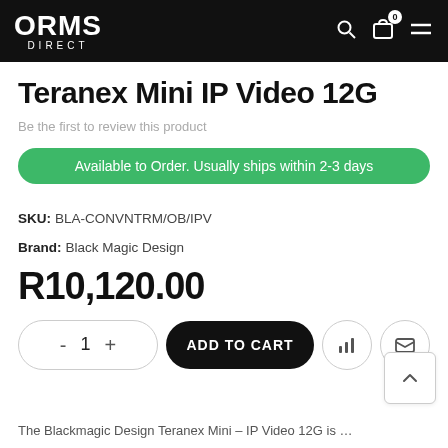ORMS DIRECT
Teranex Mini IP Video 12G
Be the first to review this product
Available to Order. Usually ships within 2-3 days
SKU:  BLA-CONVNTRM/OB/IPV
Brand:  Black Magic Design
R10,120.00
- 1 + ADD TO CART
The Blackmagic Design Teranex Mini – IP Video 12G is ...